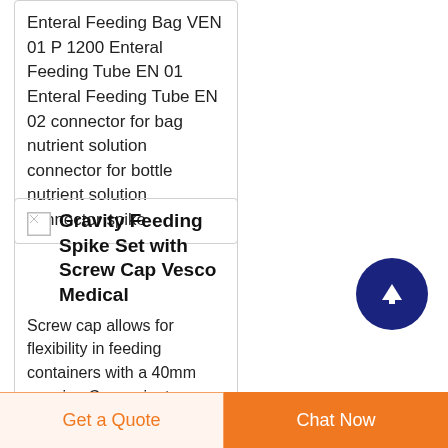Enteral Feeding Bag VEN 01 P 1200 Enteral Feeding Tube EN 01 Enteral Feeding Tube EN 02 connector for bag nutrient solution connector for bottle nutrient solution connector spike
[Figure (photo): Small broken/placeholder image icon for Gravity Feeding Spike Set product]
Gravity Feeding Spike Set with Screw Cap Vesco Medical
Screw cap allows for flexibility in feeding containers with a 40mm opening Convenient suspension bag allows for use
[Figure (other): Dark blue circular scroll-to-top button with upward arrow]
Get a Quote
Chat Now